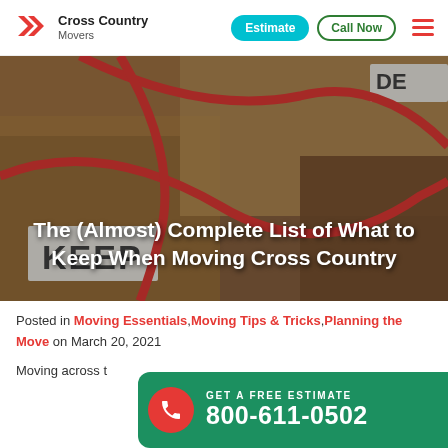Cross Country Movers — Estimate | Call Now
[Figure (photo): Close-up photo of cardboard moving boxes with red tape/straps and a label reading KEEP. Background shows multiple stacked boxes.]
The (Almost) Complete List of What to Keep When Moving Cross Country
Posted in Moving Essentials, Moving Tips & Tricks, Planning the Move on March 20, 2021
Moving across t...
GET A FREE ESTIMATE 800-611-0502